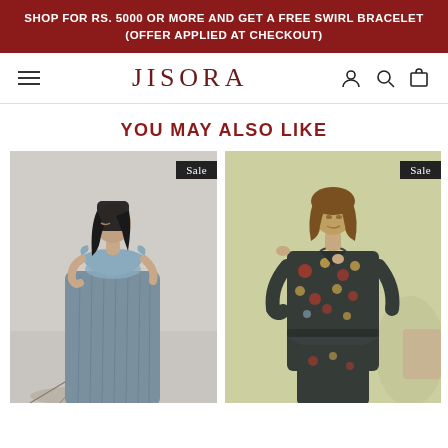SHOP FOR RS. 5000 OR MORE AND GET A FREE SWIRL BRACELET (OFFER APPLIED AT CHECKOUT)
JISORA
YOU MAY ALSO LIKE
[Figure (photo): Woman wearing a blue off-shoulder ruffled crop top with blue pleated wide-leg trousers, Sale badge in corner]
[Figure (photo): Woman wearing a dark floral print belted jacket with matching trousers, Sale badge in corner]